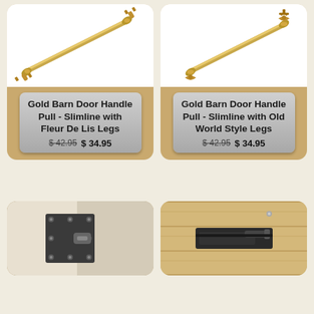[Figure (photo): Gold barn door handle pull - slimline with Fleur De Lis legs, shown diagonally on white background]
Gold Barn Door Handle Pull - Slimline with Fleur De Lis Legs $42.95 $34.95
[Figure (photo): Gold barn door handle pull - slimline with Old World Style legs, shown diagonally on white background]
Gold Barn Door Handle Pull - Slimline with Old World Style Legs $42.95 $34.95
[Figure (photo): Door hardware hinge/latch product in black metal on wooden door, close-up]
[Figure (photo): Black metal barn door hardware/latch on light wood planks, top-down view]